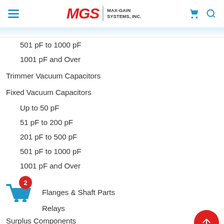MGS MAX-GAIN SYSTEMS, INC.
501 pF to 1000 pF
1001 pF and Over
Trimmer Vacuum Capacitors
Fixed Vacuum Capacitors
Up to 50 pF
51 pF to 200 pF
201 pF to 500 pF
501 pF to 1000 pF
1001 pF and Over
Flanges & Shaft Parts
Relays
Surplus Components